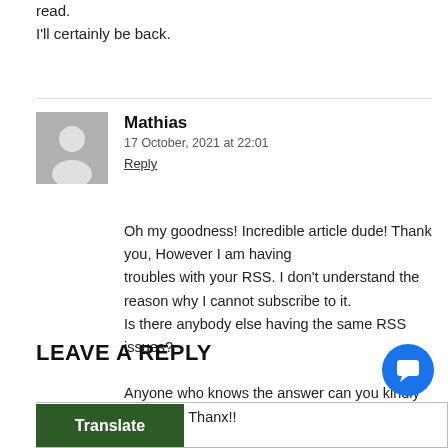read.
I'll certainly be back.
Mathias
17 October, 2021 at 22:01
Reply
Oh my goodness! Incredible article dude! Thank you, However I am having troubles with your RSS. I don't understand the reason why I cannot subscribe to it. Is there anybody else having the same RSS issues?

Anyone who knows the answer can you kindly respond? Thanx!!
LEAVE A REPLY